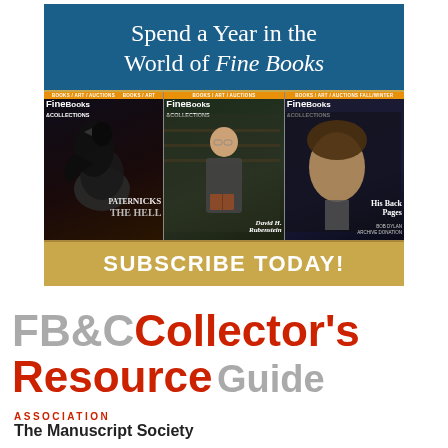[Figure (illustration): Advertisement for Fine Books & Collections magazine subscription. Shows three magazine covers with the headline 'Spend a Year in the World of Fine Books' on a blue background, with three FineBooks & Collections magazine covers displayed below, and a gold banner reading 'SUBSCRIBE TODAY!']
FB&C Collector's Resource Guide
ASSOCIATION
The Manuscript Society